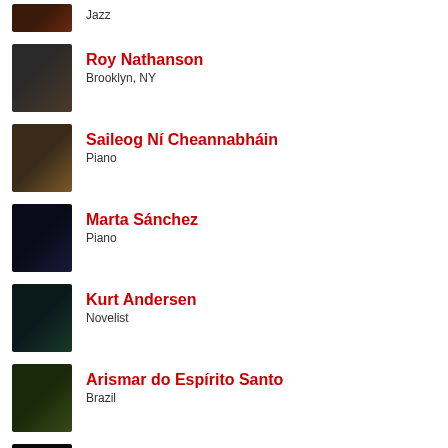Jazz
Roy Nathanson
Brooklyn, NY
Saileog Ní Cheannabháin
Piano
Marta Sánchez
Piano
Kurt Andersen
Novelist
Arismar do Espírito Santo
Brazil
Linda May Han Oh
New York City
Brian Lynch